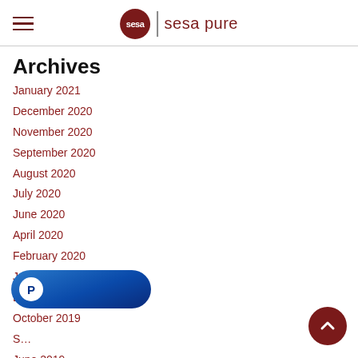sesa pure
Archives
January 2021
December 2020
November 2020
September 2020
August 2020
July 2020
June 2020
April 2020
February 2020
January 2020
December 2019
October 2019
June 2019
[Figure (other): PayPal payment button overlay, blue pill-shaped button with PayPal P logo]
[Figure (other): Back to top button, dark red circle with white chevron arrow pointing up]